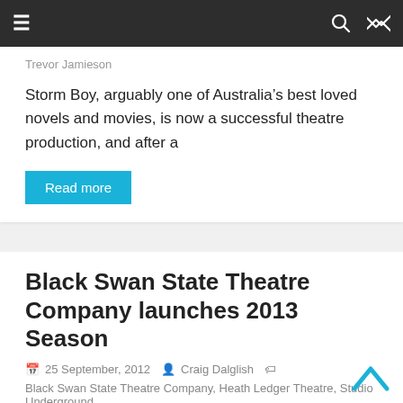≡  🔍  ⇌
Trevor Jamieson
Storm Boy, arguably one of Australia's best loved novels and movies, is now a successful theatre production, and after a
Read more
Black Swan State Theatre Company launches 2013 Season
25 September, 2012  Craig Dalglish  Black Swan State Theatre Company, Heath Ledger Theatre, Studio Underground
In its third year at its new home, last night The Black Swan State Theatre Company launched its 2013 program.